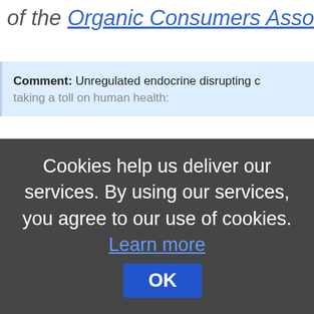of the Organic Consumers Asso...
Comment: Unregulated endocrine disrupting c... taking a toll on human health:
Cookies help us deliver our services. By using our services, you agree to our use of cookies. Learn more OK